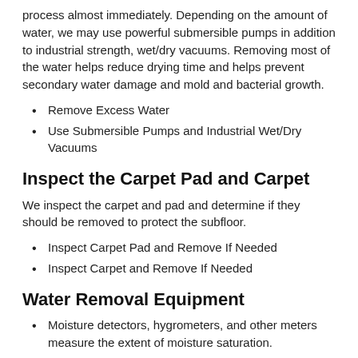process almost immediately. Depending on the amount of water, we may use powerful submersible pumps in addition to industrial strength, wet/dry vacuums. Removing most of the water helps reduce drying time and helps prevent secondary water damage and mold and bacterial growth.
Remove Excess Water
Use Submersible Pumps and Industrial Wet/Dry Vacuums
Inspect the Carpet Pad and Carpet
We inspect the carpet and pad and determine if they should be removed to protect the subfloor.
Inspect Carpet Pad and Remove If Needed
Inspect Carpet and Remove If Needed
Water Removal Equipment
Moisture detectors, hygrometers, and other meters measure the extent of moisture saturation.
Infrared cameras may be used to find “hidden” water behind walls and ceilings.
Submersible pumps may be used for...